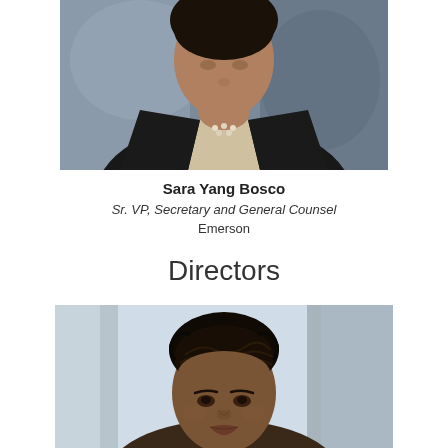[Figure (photo): Professional headshot of Sara Yang Bosco wearing a dark blazer over a cream/knit sweater, photographed against a blurred blue-gray background]
Sara Yang Bosco
Sr. VP, Secretary and General Counsel
Emerson
Directors
[Figure (photo): Professional headshot of a woman with braided/twisted updo hairstyle, photographed against a background with vertical architectural elements in gray/blue tones]